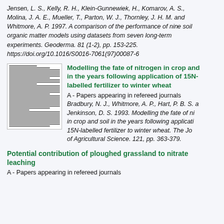Jensen, L. S., Kelly, R. H., Klein-Gunnewiek, H., Komarov, A. S., Molina, J. A. E., Mueller, T., Parton, W. J., Thornley, J. H. M. and Whitmore, A. P. 1997. A comparison of the performance of nine soil organic matter models using datasets from seven long-term experiments. Geoderma. 81 (1-2), pp. 153-225. https://doi.org/10.1016/S0016-7061(97)00087-6
[Figure (other): Thumbnail image of a journal article page]
Modelling the fate of nitrogen in crop and soil in the years following application of 15N-labelled fertilizer to winter wheat
A - Papers appearing in refereed journals
Bradbury, N. J., Whitmore, A. P., Hart, P. B. S. and Jenkinson, D. S. 1993. Modelling the fate of nitrogen in crop and soil in the years following application of 15N-labelled fertilizer to winter wheat. The Journal of Agricultural Science. 121, pp. 363-379.
Potential contribution of ploughed grassland to nitrate leaching
A - Papers appearing in refereed journals